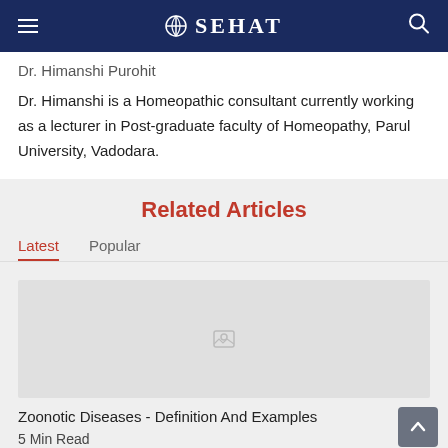SEHAT
Dr. Himanshi Purohit
Dr. Himanshi is a Homeopathic consultant currently working as a lecturer in Post-graduate faculty of Homeopathy, Parul University, Vadodara.
Related Articles
Latest   Popular
[Figure (photo): Article thumbnail image placeholder]
Zoonotic Diseases - Definition And Examples
5 Min Read